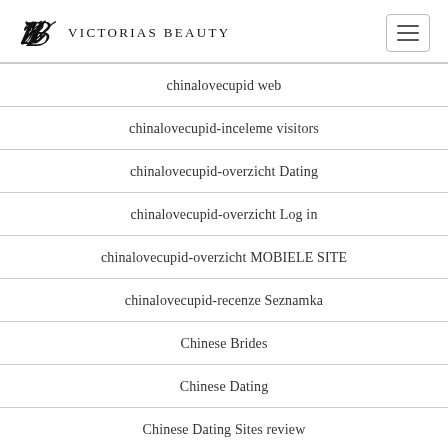Victorias Beauty
chinalovecupid web
chinalovecupid-inceleme visitors
chinalovecupid-overzicht Dating
chinalovecupid-overzicht Log in
chinalovecupid-overzicht MOBIELE SITE
chinalovecupid-recenze Seznamka
Chinese Brides
Chinese Dating
Chinese Dating Sites review